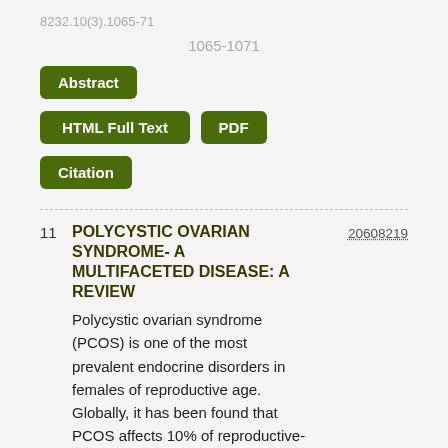8232.10(3).1065-71
1065-1071
Abstract
HTML Full Text
PDF
Citation
11
POLYCYSTIC OVARIAN SYNDROME- A MULTIFACETED DISEASE: A REVIEW
20608219
Polycystic ovarian syndrome (PCOS) is one of the most prevalent endocrine disorders in females of reproductive age. Globally, it has been found that PCOS affects 10% of reproductive-age women when using the NIH criteria for diagnosis, and up to 18% of